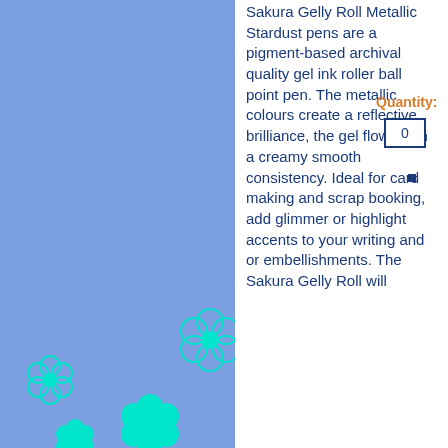[Figure (illustration): Blue background with cyan flower/daisy decorative elements scattered across the left and bottom portions of the page]
Sakura Gelly Roll Metallic Stardust pens are a pigment-based archival quality gel ink roller ball point pen. The metallic colours create a reflective brilliance, the gel flows with a creamy smooth consistency. Ideal for card making and scrap booking, add glimmer or highlight accents to your writing and or embellishments. The Sakura Gelly Roll will
Quantity: 0